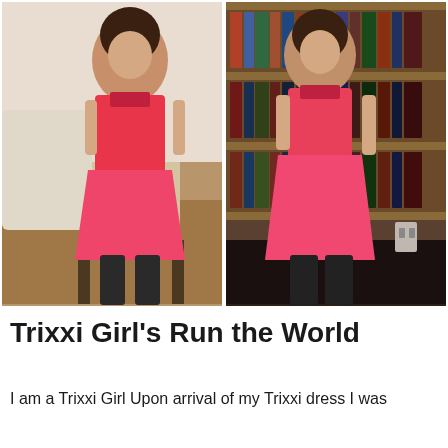[Figure (photo): Two side-by-side photos of a young woman wearing a red/pink halter-style dress with cut-out neckline detail and black knee-high boots. Left photo: woman seated on a beige chair in a room with carpeted floor. Right photo: woman standing in front of a bookshelf with dark wood shelving.]
Trixxi Girl's Run the World
I am a Trixxi Girl Upon arrival of my Trixxi dress I was